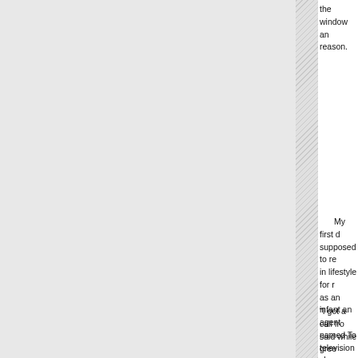the window and reason.
My first d supposed to re in lifestyle for r as an infant an agent named To television sho had the celebri finely tailored s needed to drive
"I got a call fro said while gree him and then ut